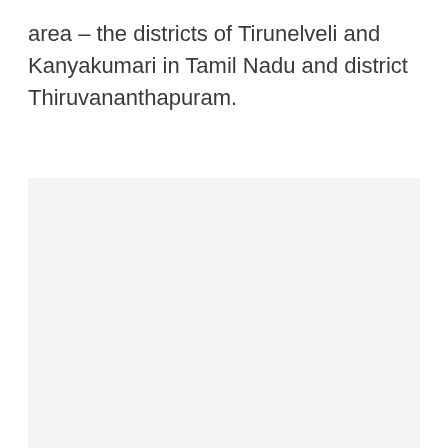area – the districts of Tirunelveli and Kanyakumari in Tamil Nadu and district Thiruvananthapuram.
[Figure (other): Large light gray rectangular image placeholder area occupying the lower three-quarters of the page.]